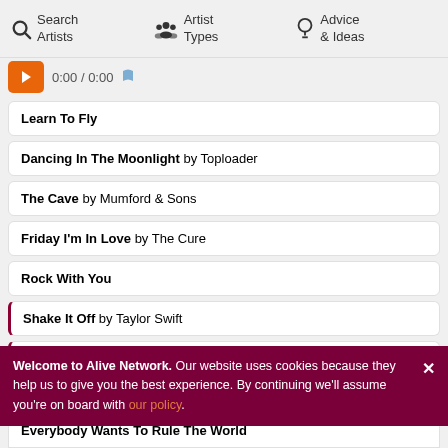Search Artists | Artist Types | Advice & Ideas
0:00 / 0:00
Learn To Fly
Dancing In The Moonlight by Toploader
The Cave by Mumford & Sons
Friday I'm In Love by The Cure
Rock With You
Shake It Off by Taylor Swift
Call Me Maybe by Carly Rae Jepsen
Welcome to Alive Network. Our website uses cookies because they help us to give you the best experience. By continuing we'll assume you're on board with our policy.
Everybody Wants To Rule The World